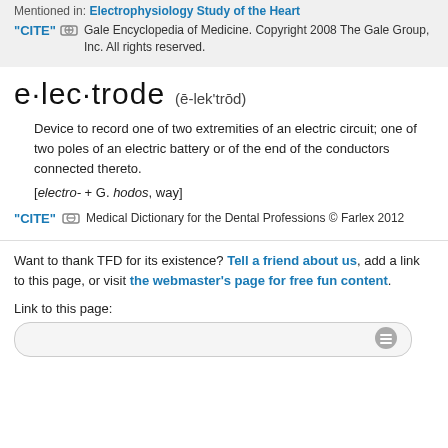Mentioned in: Electrophysiology Study of the Heart
"CITE" [link icon] Gale Encyclopedia of Medicine. Copyright 2008 The Gale Group, Inc. All rights reserved.
e·lec·trode   (ē-lek'trōd)
Device to record one of two extremities of an electric circuit; one of two poles of an electric battery or of the end of the conductors connected thereto.
[electro- + G. hodos, way]
"CITE" [link icon] Medical Dictionary for the Dental Professions © Farlex 2012
Want to thank TFD for its existence? Tell a friend about us, add a link to this page, or visit the webmaster's page for free fun content.
Link to this page: